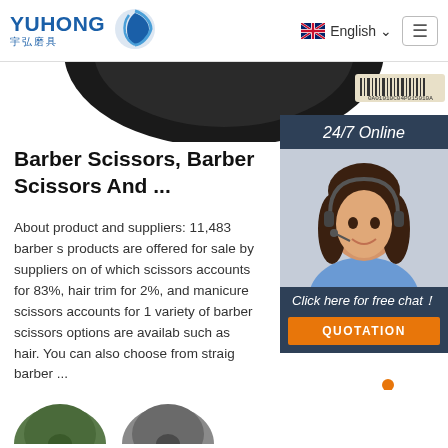YUHONG 宇弘磨具 | English
[Figure (photo): Partial view of a dark circular abrasive grinding disc with barcode label, cropped at the top of the page]
[Figure (photo): 24/7 Online chat widget with a smiling female customer service representative wearing a headset]
Barber Scissors, Barber Scissors And ...
About product and suppliers: 11,483 barber scissors products are offered for sale by suppliers on of which scissors accounts for 83%, hair trim for 2%, and manicure scissors accounts for 1 variety of barber scissors options are availab such as hair. You can also choose from straig barber ...
[Figure (screenshot): Click here for free chat! button with QUOTATION orange button below]
[Figure (other): Get Price brown button]
[Figure (other): TOP navigation button with orange dots above orange TOP text]
[Figure (photo): Bottom partial product images - green and grey circular abrasive discs]